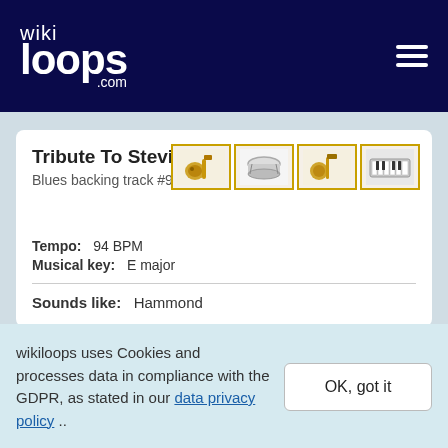wikiloops.com
Tribute To Stevie Ray
Blues backing track #96265
Tempo: 94 BPM
Musical key: E major
Sounds like: Hammond
Come down
Blues backing track #141232
wikiloops uses Cookies and processes data in compliance with the GDPR, as stated in our data privacy policy ..